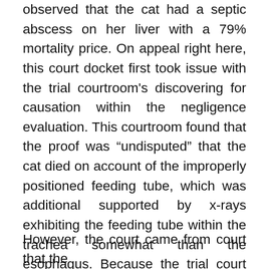observed that the cat had a septic abscess on her liver with a 79% mortality price. On appeal right here, this court docket first took issue with the trial courtroom's discovering for causation within the negligence evaluation. This courtroom found that the proof was "undisputed" that the cat died on account of the improperly positioned feeding tube, which was additional supported by x-rays exhibiting the feeding tube within the trachea somewhat than the esophagus. Because the trial court docket didn't discover causation, damages weren't addressed.
However, the court came from court that the...